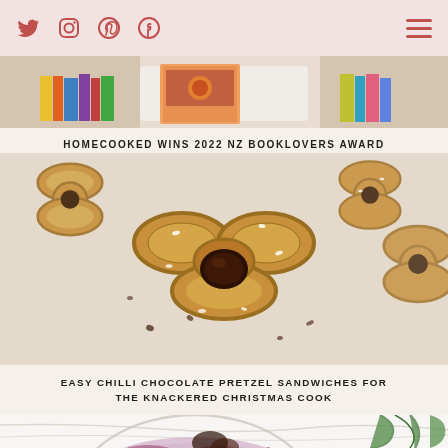Social media icons: Twitter, Instagram, Pinterest, Facebook; hamburger menu
[Figure (photo): Top banner showing a cookbook and colorful book spines on a table — HOMECOOKED WINS 2022 NZ BOOKLOVERS AWARD]
HOMECOOKED WINS 2022 NZ BOOKLOVERS AWARD
[Figure (photo): Large close-up photo of chilli chocolate pretzel sandwiches on parchment paper — pretzels filled with dark chocolate ganache, sprinkled with sea salt flakes]
EASY CHILLI CHOCOLATE PRETZEL SANDWICHES FOR THE KNACKERED CHRISTMAS COOK
[Figure (photo): Partial photo at bottom showing a glass bowl with a purple/red creamy salad dish, with green plant leaves visible at top right]